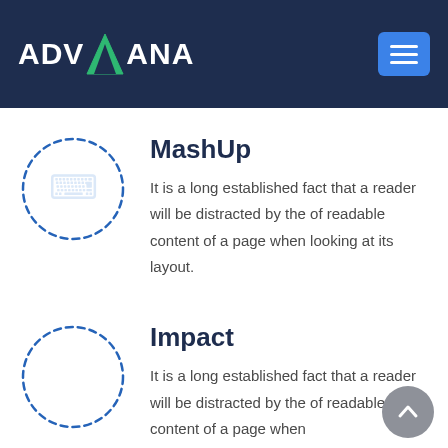ADVAANA
MashUp
It is a long established fact that a reader will be distracted by the of readable content of a page when looking at its layout.
Impact
It is a long established fact that a reader will be distracted by the of readable content of a page when